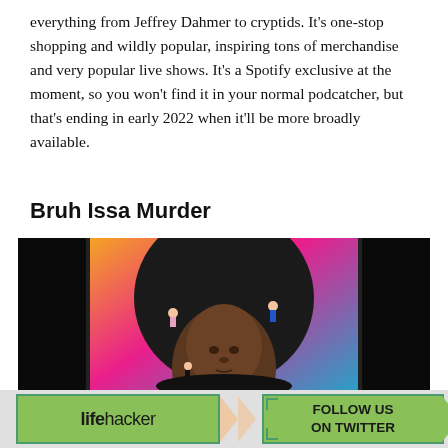everything from Jeffrey Dahmer to cryptids. It's one-stop shopping and wildly popular, inspiring tons of merchandise and very popular live shows. It's a Spotify exclusive at the moment, so you won't find it in your normal podcatcher, but that's ending in early 2022 when it'll be more broadly available.
Bruh Issa Murder
[Figure (photo): Podcast cover art for 'Bruh Issa Murder' showing a person's face with a large dark circular hat against a colorful gradient background (orange, pink, teal). Small figures of people appear on the hat. Text 'BRUH ISSA MURDER' appears at the bottom in bold white letters. The image is framed by dark/black bars on the left and right sides.]
[Figure (infographic): Lifehacker advertisement banner with green background showing 'lifehacker' logo on the left and 'FOLLOW US ON TWITTER' text on the right with decorative triangle/arrow shapes and corner decorations.]